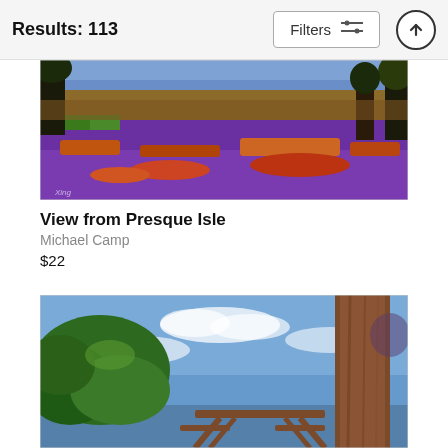Results: 113
[Figure (illustration): Impressionist landscape painting 'View from Presque Isle' showing a colorful panoramic view of land with trees and water in warm purple, red, orange, and green tones by Michael Camp.]
View from Presque Isle
Michael Camp
$22
[Figure (illustration): Impressionist painting showing a picnic table and large tree trunk in foreground with blue sky, white clouds, and green foliage in background.]